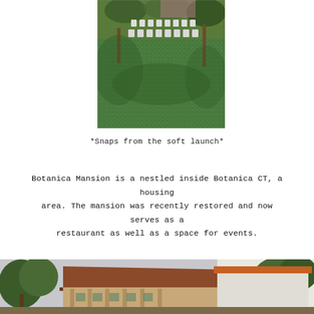[Figure (photo): Outdoor lawn area with white chairs arranged in rows under trees, viewed from above showing lush green grass.]
*Snaps from the soft launch*
Botanica Mansion is a nestled inside Botanica CT, a housing area. The mansion was recently restored and now serves as a restaurant as well as a space for events.
[Figure (photo): Exterior of Botanica Mansion building with slanted roof, surrounded by green trees, showing architectural structure with columns and a white wall on the right.]